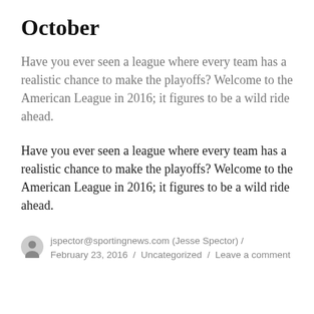October
Have you ever seen a league where every team has a realistic chance to make the playoffs? Welcome to the American League in 2016; it figures to be a wild ride ahead.
Have you ever seen a league where every team has a realistic chance to make the playoffs? Welcome to the American League in 2016; it figures to be a wild ride ahead.
jspector@sportingnews.com (Jesse Spector) / February 23, 2016 / Uncategorized / Leave a comment